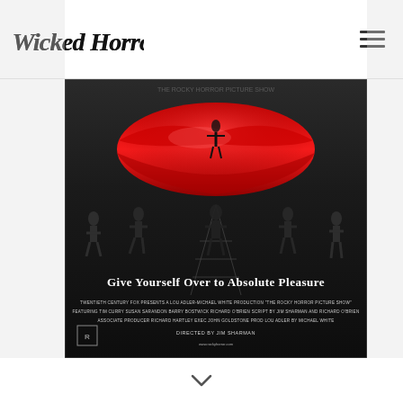Wicked Horror
[Figure (photo): Rocky Horror Picture Show movie poster featuring large red lips at top with a figure in black costume, dancers in black outfits below, and text 'Give Yourself Over to Absolute Pleasure'. Credits include Twentieth Century Fox, Tim Curry, Susan Sarandon, Barry Bostwick, Richard O'Brien, directed by Jim Sharman.]